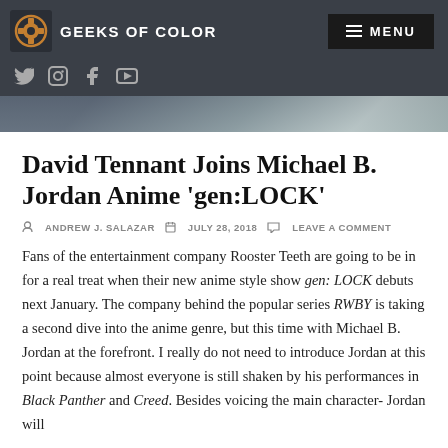GEEKS OF COLOR
David Tennant Joins Michael B. Jordan Anime 'gen:LOCK'
ANDREW J. SALAZAR   JULY 28, 2018   LEAVE A COMMENT
Fans of the entertainment company Rooster Teeth are going to be in for a real treat when their new anime style show gen:LOCK debuts next January. The company behind the popular series RWBY is taking a second dive into the anime genre, but this time with Michael B. Jordan at the forefront. I really do not need to introduce Jordan at this point because almost everyone is still shaken by his performances in Black Panther and Creed. Besides voicing the main character- Jordan will